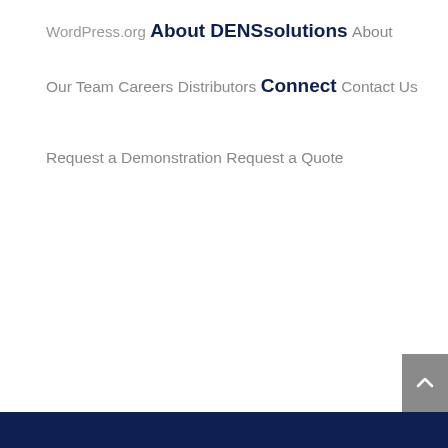WordPress.org
About DENSsolutions
About
Our Team
Careers
Distributors
Connect
Contact Us
Request a Demonstration
Request a Quote